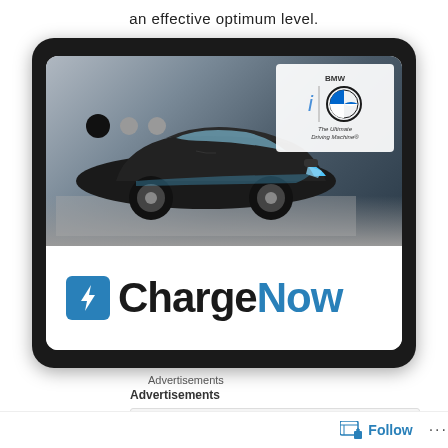an effective optimum level.
[Figure (screenshot): Tablet device showing a BMW ChargeNow advertisement. The top portion shows a BMW i8 sports car driving on a road with the BMW i logo and BMW roundel badge in the top right corner. The bottom portion shows the ChargeNow logo with a blue electric plug icon and the text 'ChargeNow' in black and blue. Navigation dots are visible at the bottom left of the image area.]
Advertisements
Advertisements
[Figure (logo): Longreads logo - red circular badge with white icon]
LONGREADS
Follow
...